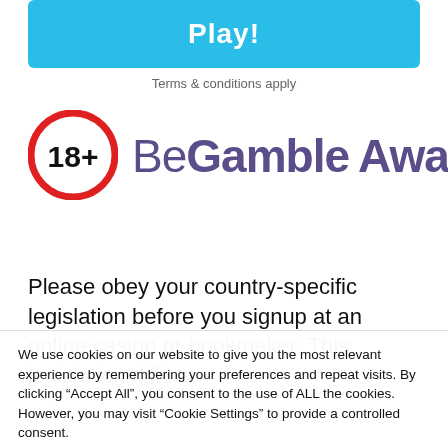[Figure (other): Blue 'Play!' button]
Terms & conditions apply
[Figure (logo): BeGambleAware logo with 18+ circle icon]
Please obey your country-specific legislation before you signup at an online casino or bookmaker. This legislation differs...
We use cookies on our website to give you the most relevant experience by remembering your preferences and repeat visits. By clicking “Accept All”, you consent to the use of ALL the cookies. However, you may visit “Cookie Settings” to provide a controlled consent.
[Figure (other): Cookie Settings and Accept All buttons]